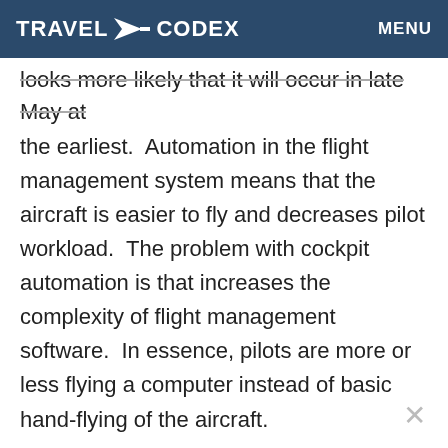TRAVEL CODEX   MENU
looks more likely that it will occur in late May at the earliest.  Automation in the flight management system means that the aircraft is easier to fly and decreases pilot workload.  The problem with cockpit automation is that increases the complexity of flight management software.  In essence, pilots are more or less flying a computer instead of basic hand-flying of the aircraft.
Final Thoughts
Before the pandemic hit, airlines were...